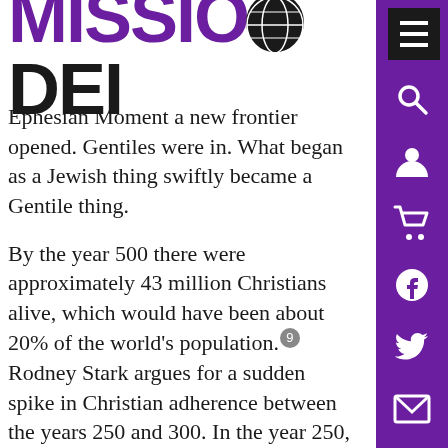MISSIO DEI
Ephesian Moment a new frontier opened. Gentiles were in. What began as a Jewish thing swiftly became a Gentile thing.
By the year 500 there were approximately 43 million Christians alive, which would have been about 20% of the world’s population.²9 Rodney Stark argues for a sudden spike in Christian adherence between the years 250 and 300. In the year 250, Christianity was the religion of only 2% of the Roman Empire. In the year 300, Christianity claimed around 10% of the empire. By 350, well over half of the Roman Empire was at least nominally Christian. He writes, “40 percent per decade